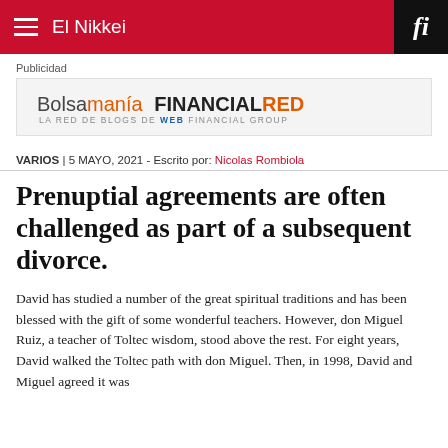El Nikkei
Publicidad
[Figure (logo): Bolsamania FINANCIALRED logo — LA RED DE BLOGS DE WEB FINANCIAL GROUP]
VARIOS | 5 MAYO, 2021 - Escrito por: Nicolas Rombiola
Prenuptial agreements are often challenged as part of a subsequent divorce.
David has studied a number of the great spiritual traditions and has been blessed with the gift of some wonderful teachers. However, don Miguel Ruiz, a teacher of Toltec wisdom, stood above the rest. For eight years, David walked the Toltec path with don Miguel. Then, in 1998, David and Miguel agreed it was